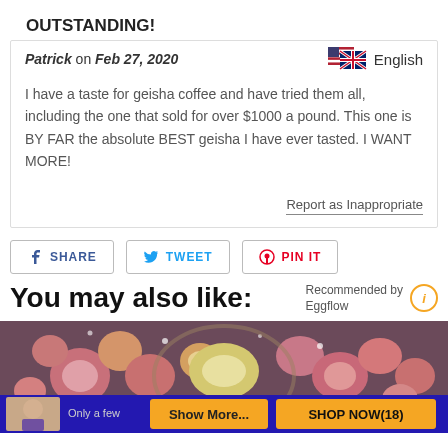OUTSTANDING!
Patrick on Feb 27, 2020   English
I have a taste for geisha coffee and have tried them all, including the one that sold for over $1000 a pound. This one is BY FAR the absolute BEST geisha I have ever tasted. I WANT MORE!
Report as Inappropriate
SHARE   TWEET   PIN IT
You may also like:
Recommended by Eggflow
[Figure (photo): Product image area with floral decorations, showing a wreath-like arrangement of colorful flowers on a dark background. Bottom bar shows 'Only a few...', 'Show More...', and 'SHOP NOW(18)' buttons.]